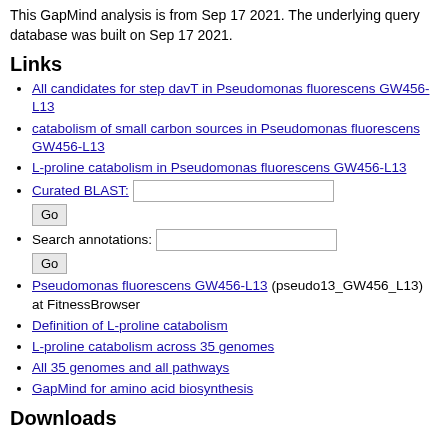This GapMind analysis is from Sep 17 2021. The underlying query database was built on Sep 17 2021.
Links
All candidates for step davT in Pseudomonas fluorescens GW456-L13
catabolism of small carbon sources in Pseudomonas fluorescens GW456-L13
L-proline catabolism in Pseudomonas fluorescens GW456-L13
Curated BLAST: [input] Go
Search annotations: [input] Go
Pseudomonas fluorescens GW456-L13 (pseudo13_GW456_L13) at FitnessBrowser
Definition of L-proline catabolism
L-proline catabolism across 35 genomes
All 35 genomes and all pathways
GapMind for amino acid biosynthesis
Downloads